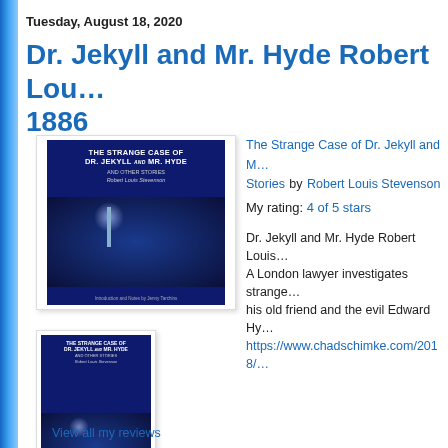Tuesday, August 18, 2020
Dr. Jekyll and Mr. Hyde Robert Lou… 1886
[Figure (photo): Book cover of The Strange Case of Dr. Jekyll and Mr. Hyde and Other Stories by Robert Louis Stevenson — dark blue cover with street lamp glow]
The Strange Case of Dr. Jekyll and M… Stories by Robert Louis Stevenson
My rating: 4 of 5 stars

Dr. Jekyll and Mr. Hyde Robert Louis… A London lawyer investigates strange… his old friend and the evil Edward Hy… https://www.chadschimke.com/2018/…
[Figure (photo): Thumbnail of book cover of The Strange Case of Dr. Jekyll and Mr. Hyde]
View all my reviews